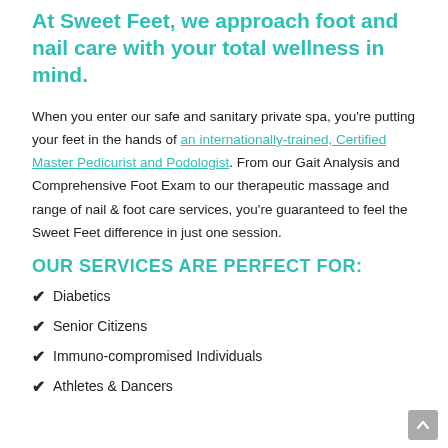At Sweet Feet, we approach foot and nail care with your total wellness in mind.
When you enter our safe and sanitary private spa, you're putting your feet in the hands of an internationally-trained, Certified Master Pedicurist and Podologist. From our Gait Analysis and Comprehensive Foot Exam to our therapeutic massage and range of nail & foot care services, you're guaranteed to feel the Sweet Feet difference in just one session.
OUR SERVICES ARE PERFECT FOR:
Diabetics
Senior Citizens
Immuno-compromised Individuals
Athletes & Dancers